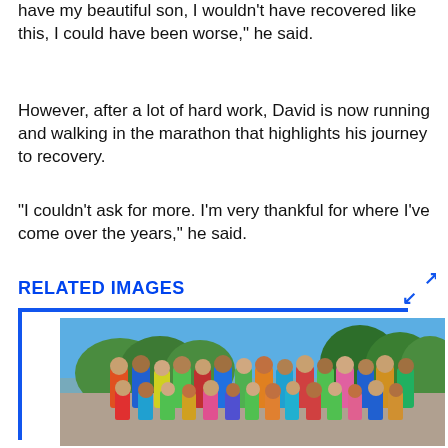have my beautiful son, I wouldn't have recovered like this, I could have been worse," he said.
However, after a lot of hard work, David is now running and walking in the marathon that highlights his journey to recovery.
"I couldn't ask for more. I'm very thankful for where I've come over the years," he said.
RELATED IMAGES
[Figure (photo): A large group of runners and walkers of various ages gathered outdoors on a sunny day, with green trees and a building visible in the background. Many participants are wearing colorful athletic gear and hats.]